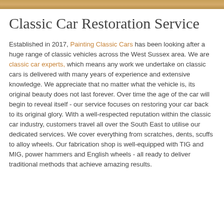[Figure (photo): Decorative golden/amber colored header bar at the top of the page]
Classic Car Restoration Service
Established in 2017, Painting Classic Cars has been looking after a huge range of classic vehicles across the West Sussex area. We are classic car experts, which means any work we undertake on classic cars is delivered with many years of experience and extensive knowledge. We appreciate that no matter what the vehicle is, its original beauty does not last forever. Over time the age of the car will begin to reveal itself - our service focuses on restoring your car back to its original glory. With a well-respected reputation within the classic car industry, customers travel all over the South East to utilise our dedicated services. We cover everything from scratches, dents, scuffs to alloy wheels. Our fabrication shop is well-equipped with TIG and MIG, power hammers and English wheels - all ready to deliver traditional methods that achieve amazing results.